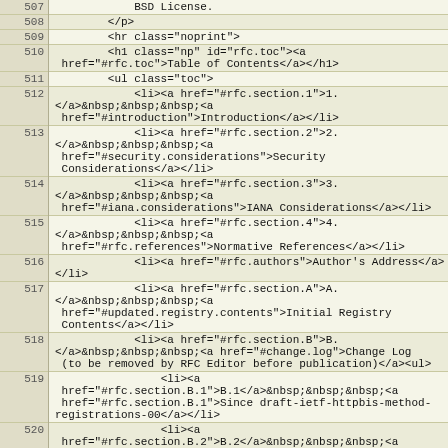| line | code |
| --- | --- |
| 507 | BSD License. |
| 508 | </p> |
| 509 | <hr class="noprint"> |
| 510 | <h1 class="np" id="rfc.toc"><a href="#rfc.toc">Table of Contents</a></h1> |
| 511 | <ul class="toc"> |
| 512 | <li><a href="#rfc.section.1">1.</a>&nbsp;&nbsp;&nbsp;<a href="#introduction">Introduction</a></li> |
| 513 | <li><a href="#rfc.section.2">2.</a>&nbsp;&nbsp;&nbsp;<a href="#security.considerations">Security Considerations</a></li> |
| 514 | <li><a href="#rfc.section.3">3.</a>&nbsp;&nbsp;&nbsp;<a href="#iana.considerations">IANA Considerations</a></li> |
| 515 | <li><a href="#rfc.section.4">4.</a>&nbsp;&nbsp;&nbsp;<a href="#rfc.references">Normative References</a></li> |
| 516 | <li><a href="#rfc.authors">Author's Address</a></li> |
| 517 | <li><a href="#rfc.section.A">A.</a>&nbsp;&nbsp;&nbsp;<a href="#updated.registry.contents">Initial Registry Contents</a></li> |
| 518 | <li><a href="#rfc.section.B">B.</a>&nbsp;&nbsp;&nbsp;<a href="#change.log">Change Log (to be removed by RFC Editor before publication)</a><ul> |
| 519 | <li><a href="#rfc.section.B.1">B.1</a>&nbsp;&nbsp;&nbsp;<a href="#rfc.section.B.1">Since draft-ietf-httpbis-method-registrations-00</a></li> |
| 520 | <li><a href="#rfc.section.B.2">B.2</a>&nbsp;&nbsp;&nbsp;<a href="#rfc.section.B.2">Since draft-ietf-httpbis-method-registrations-01</a></li> |